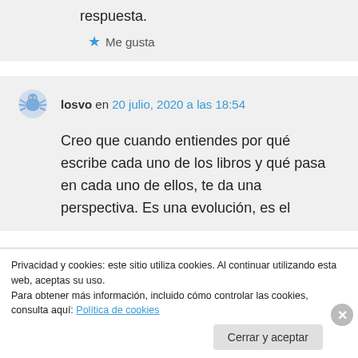respuesta.
★ Me gusta
losvo en 20 julio, 2020 a las 18:54
Creo que cuando entiendes por qué escribe cada uno de los libros y qué pasa en cada uno de ellos, te da una perspectiva. Es una evolución, es el
Privacidad y cookies: este sitio utiliza cookies. Al continuar utilizando esta web, aceptas su uso.
Para obtener más información, incluido cómo controlar las cookies, consulta aquí: Política de cookies
Cerrar y aceptar